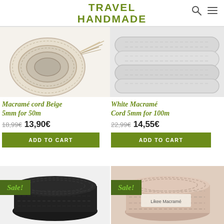TRAVEL HANDMADE
[Figure (photo): Ball of beige braided macramé cord with frayed end]
[Figure (photo): Coil of white braided macramé rope]
Macramé cord Beige 5mm for 50m
18,99€  13,90€
ADD TO CART
White Macramé Cord 5mm for 100m
22,99€  14,55€
ADD TO CART
[Figure (photo): Spool of black macramé cord with Sale! badge]
[Figure (photo): Spool of peach/salmon macramé cord with Sale! badge and Likee Macrame label]